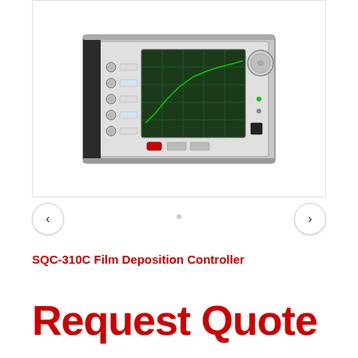[Figure (photo): SQC-310C Film Deposition Controller instrument — a rack-mounted electronic device with a gray/silver front panel featuring multiple connectors/ports on the left side, a green-background display screen with grid lines in the center, a large circular knob/dial in the upper right, and several buttons including a red button and black square button.]
SQC-310C Film Deposition Controller
Request Quote